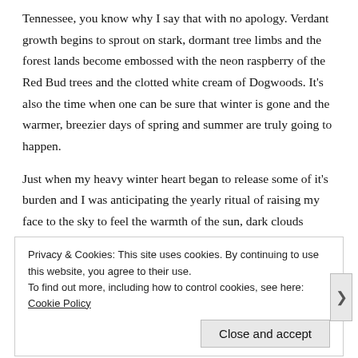Tennessee, you know why I say that with no apology. Verdant growth begins to sprout on stark, dormant tree limbs and the forest lands become embossed with the neon raspberry of the Red Bud trees and the clotted white cream of Dogwoods. It's also the time when one can be sure that winter is gone and the warmer, breezier days of spring and summer are truly going to happen.
Just when my heavy winter heart began to release some of it's burden and I was anticipating the yearly ritual of raising my face to the sky to feel the warmth of the sun, dark clouds rushed in again.  It stole the warmth away.
Privacy & Cookies: This site uses cookies. By continuing to use this website, you agree to their use. To find out more, including how to control cookies, see here: Cookie Policy